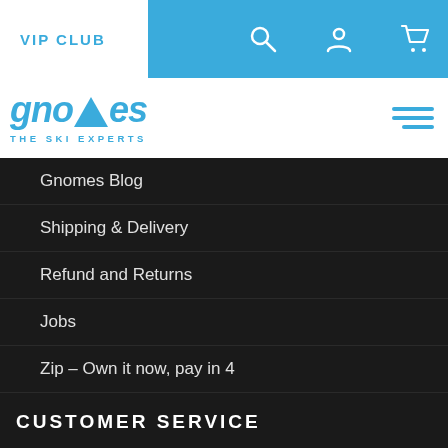VIP CLUB
[Figure (logo): Gnomes The Ski Experts logo in blue italic font]
Gnomes Blog
Shipping & Delivery
Refund and Returns
Jobs
Zip – Own it now, pay in 4
CUSTOMER SERVICE
VIP Club
About Us
Contact Us
Policies